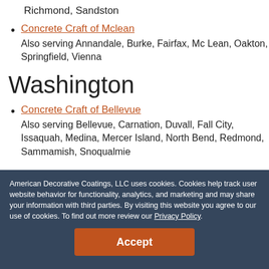Richmond, Sandston
Concrete Craft of Mclean
Also serving Annandale, Burke, Fairfax, Mc Lean, Oakton, Springfield, Vienna
Washington
Concrete Craft of Bellevue
Also serving Bellevue, Carnation, Duvall, Fall City, Issaquah, Medina, Mercer Island, North Bend, Redmond, Sammamish, Snoqualmie
American Decorative Coatings, LLC uses cookies. Cookies help track user website behavior for functionality, analytics, and marketing and may share your information with third parties. By visiting this website you agree to our use of cookies. To find out more review our Privacy Policy.
Accept